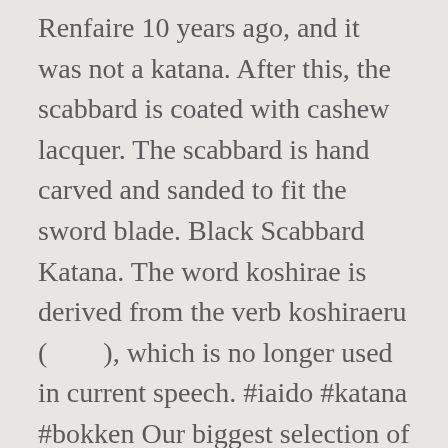Renfaire 10 years ago, and it was not a katana. After this, the scabbard is coated with cashew lacquer. The scabbard is hand carved and sanded to fit the sword blade. Black Scabbard Katana. The word koshirae is derived from the verb koshiraeru (　　), which is no longer used in current speech. #iaido #katana #bokken Our biggest selection of Saya is available for Katana sized blades, however, some unique design is available for other samurai swords, through the samurai swords store app you can choose the type of Saya that you prefer, which are categorized into four sections. rusted a little quickly at the tip, though. great sword. When taking out the sword from the scabbard take it slowly or some fingers might be severed